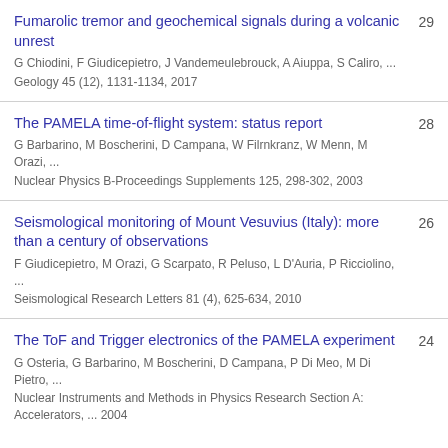Fumarolic tremor and geochemical signals during a volcanic unrest | G Chiodini, F Giudicepietro, J Vandemeulebrouck, A Aiuppa, S Caliro, ... | Geology 45 (12), 1131-1134, 2017 | 29
The PAMELA time-of-flight system: status report | G Barbarino, M Boscherini, D Campana, W Filrnkranz, W Menn, M Orazi, ... | Nuclear Physics B-Proceedings Supplements 125, 298-302, 2003 | 28
Seismological monitoring of Mount Vesuvius (Italy): more than a century of observations | F Giudicepietro, M Orazi, G Scarpato, R Peluso, L D'Auria, P Ricciolino, ... | Seismological Research Letters 81 (4), 625-634, 2010 | 26
The ToF and Trigger electronics of the PAMELA experiment | G Osteria, G Barbarino, M Boscherini, D Campana, P Di Meo, M Di Pietro, ... | Nuclear Instruments and Methods in Physics Research Section A: Accelerators, ... 2004 | 24